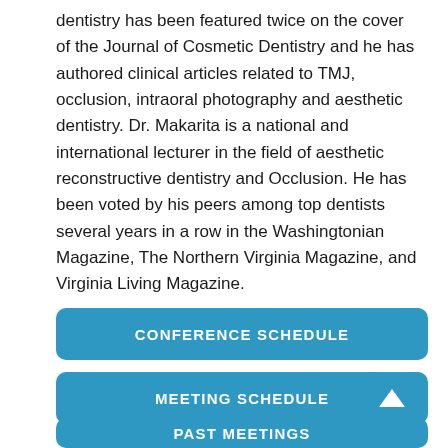dentistry has been featured twice on the cover of the Journal of Cosmetic Dentistry and he has authored clinical articles related to TMJ, occlusion, intraoral photography and aesthetic dentistry. Dr. Makarita is a national and international lecturer in the field of aesthetic reconstructive dentistry and Occlusion. He has been voted by his peers among top dentists several years in a row in the Washingtonian Magazine, The Northern Virginia Magazine, and Virginia Living Magazine.
CONFERENCE SCHEDULE
MEETING SCHEDULE
PAST MEETINGS